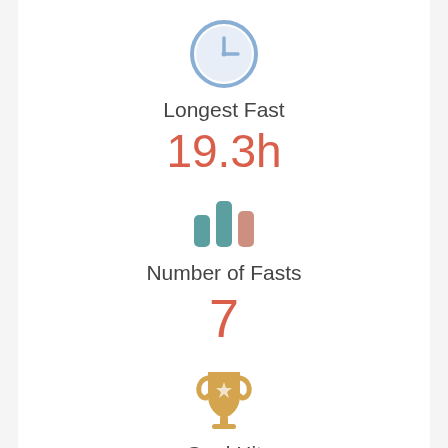[Figure (illustration): Blue clock icon circle with clock hands showing roughly 9:00]
Longest Fast
19.3h
[Figure (illustration): Teal bar chart icon with three bars of varying heights]
Number of Fasts
7
[Figure (illustration): Gold trophy icon with a star on the cup]
Goal Hit